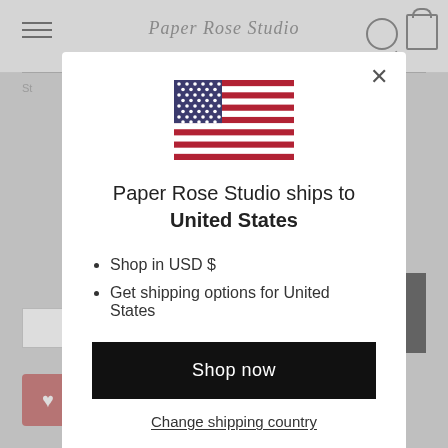[Figure (screenshot): Website background showing navigation bar with hamburger menu, search and cart icons, and page content partially visible behind modal overlay]
[Figure (illustration): United States flag SVG illustration]
Paper Rose Studio ships to United States
Shop in USD $
Get shipping options for United States
Shop now
Change shipping country